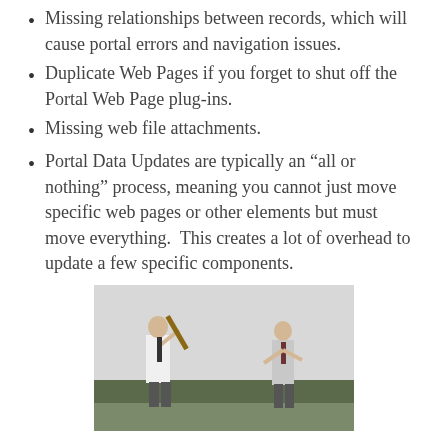Missing relationships between records, which will cause portal errors and navigation issues.
Duplicate Web Pages if you forget to shut off the Portal Web Page plug-ins.
Missing web file attachments.
Portal Data Updates are typically an “all or nothing” process, meaning you cannot just move specific web pages or other elements but must move everything.  This creates a lot of overhead to update a few specific components.
[Figure (photo): Black and white photo of two men in business attire outdoors; one appears to be swinging a baseball bat toward the other who is recoiling, with trees in the background.]